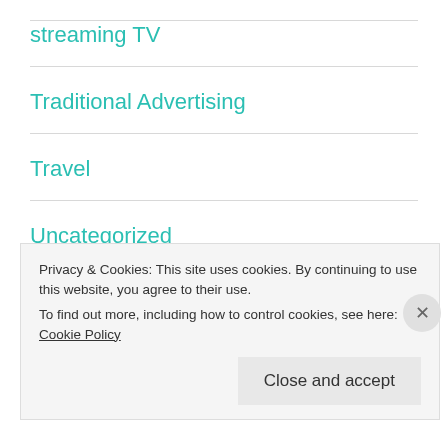streaming TV
Traditional Advertising
Travel
Uncategorized
Wearable Tech
Work from home
Privacy & Cookies: This site uses cookies. By continuing to use this website, you agree to their use.
To find out more, including how to control cookies, see here: Cookie Policy
Close and accept